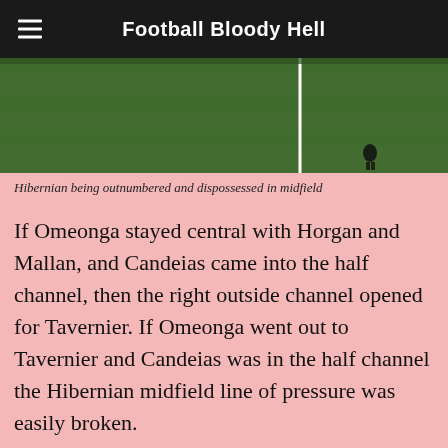Football Bloody Hell
[Figure (photo): Aerial view of a football pitch with green grass, a white centre line visible, and a player visible in the lower right area. Cropped screenshot showing Hibernian being outnumbered in midfield.]
Hibernian being outnumbered and dispossessed in midfield
If Omeonga stayed central with Horgan and Mallan, and Candeias came into the half channel, then the right outside channel opened for Tavernier. If Omeonga went out to Tavernier and Candeias was in the half channel the Hibernian midfield line of pressure was easily broken.
We use cookies to ensure that we give you the best experience on our website. If you continue to use this site we will assume that you are happy with it.